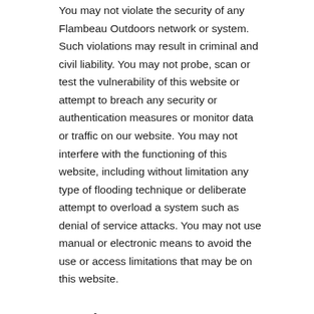You may not violate the security of any Flambeau Outdoors network or system. Such violations may result in criminal and civil liability. You may not probe, scan or test the vulnerability of this website or attempt to breach any security or authentication measures or monitor data or traffic on our website. You may not interfere with the functioning of this website, including without limitation any type of flooding technique or deliberate attempt to overload a system such as denial of service attacks. You may not use manual or electronic means to avoid the use or access limitations that may be on this website.
Purchases
All purchases made via this website are subject to the Flambeau Outdoors Terms & Conditions of Sale, which includes our Return Policy. All payments must be made via credit card or debit card. If the credit or debit card